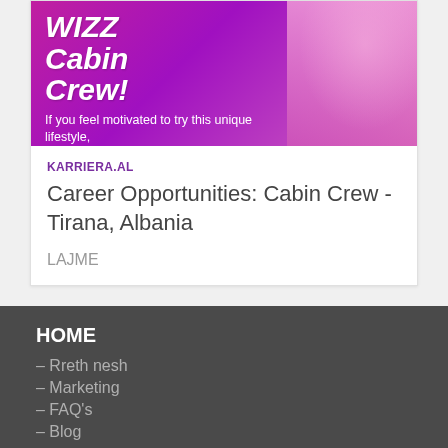[Figure (photo): Wizz Air Cabin Crew recruitment advertisement banner with a woman in pink uniform on a pink/purple background. Text reads 'WIZZ Cabin Crew!' and 'If you feel motivated to try this unique lifestyle, apply for the positions at the Wizz Air base in Tirana, and be part of an award-winning team!']
KARRIERA.AL
Career Opportunities: Cabin Crew - Tirana, Albania
LAJME
HOME
– Rreth nesh
– Marketing
– FAQ's
– Blog
PËR KOMPANITË